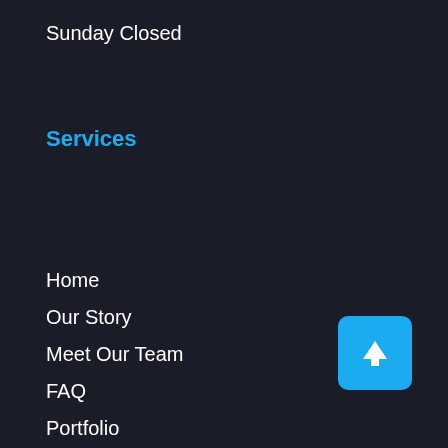Sunday Closed
Services
Home
Our Story
Meet Our Team
FAQ
Portfolio
Pricing
Results
[Figure (illustration): Blue square button with white upward arrow, for scrolling to top of page]